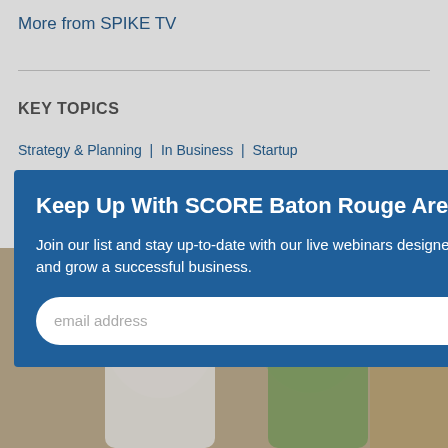More from SPIKE TV
KEY TOPICS
Strategy & Planning  In Business  Startup
Keep Up With SCORE Baton Rouge Area
Join our list and stay up-to-date with our live webinars designed to help you start and grow a successful business.
[Figure (photo): Two people standing together, a man in a white shirt and a woman in a green top, smiling]
email address
SUBMIT